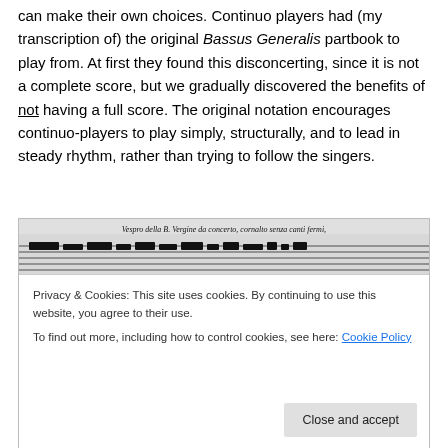Bassus Generalis book – at a glance, so that performers can make their own choices. Continuo players had (my transcription of) the original Bassus Generalis partbook to play from. At first they found this disconcerting, since it is not a complete score, but we gradually discovered the benefits of not having a full score. The original notation encourages continuo-players to play simply, structurally, and to lead in steady rhythm, rather than trying to follow the singers.
[Figure (photo): A scanned image of historical musical notation/score showing old manuscript music with title 'Vespro della B. Vergine da concerto, cornalto senza canti fermi,' visible at the top, showing multiple staves of early baroque notation.]
Privacy & Cookies: This site uses cookies. By continuing to use this website, you agree to their use.
To find out more, including how to control cookies, see here: Cookie Policy